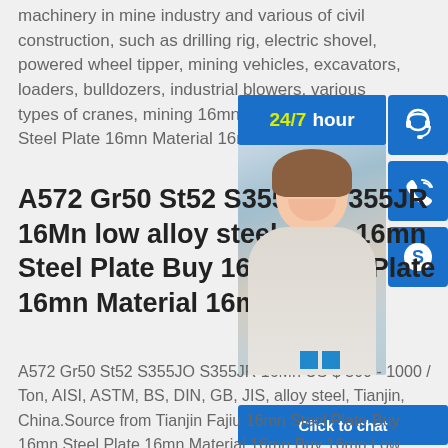machinery in mine industry and various of civil construction, such as drilling rig, electric shovel, powered wheel tipper, mining vehicles, excavators, loaders, bulldozers, industrial blowers, various types of cranes, mining 16mn Steel Plate 16mn Steel Plate 16mn Material 16mn
[Figure (photo): Customer service chat widget with 24/7 hour label, photo of smiling customer service representative, three blue buttons (headset, phone, Skype icons), and Click to chat button]
A572 Gr50 St52 S355JO S355JR 16Mn low alloy steel plate 16mn Steel Plate Buy 16mn Steel Plate 16mn Material 16mn
A572 Gr50 St52 S355JO S355JR 16Mn US $ 500 - 1000 / Ton, AISI, ASTM, BS, DIN, GB, JIS, alloy steel, Tianjin, China.Source from Tianjin Fajiu 16mn Steel Plate Buy 16mn Steel Plate 16mn Material 16mn Buy 16mn Low Alloy High Strength Steel Plate- CBD SteelBuy 16mn Low Alloy Steel Plate sheet. 16mn Low Alloy Steel Plate. 16mn Low Alloy Steel Plate steel is a building material composed of chemical components such as silicon, sulfur and phosphorus...